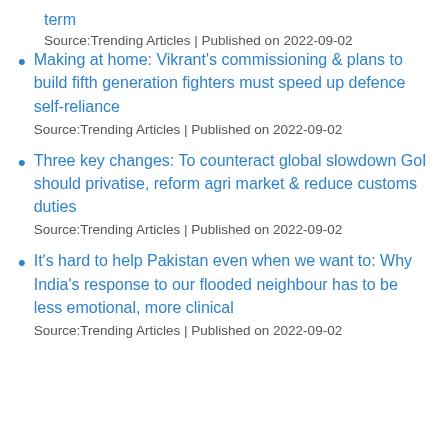term
Source:Trending Articles | Published on 2022-09-02
Making at home: Vikrant's commissioning & plans to build fifth generation fighters must speed up defence self-reliance
Source:Trending Articles | Published on 2022-09-02
Three key changes: To counteract global slowdown GoI should privatise, reform agri market & reduce customs duties
Source:Trending Articles | Published on 2022-09-02
It's hard to help Pakistan even when we want to: Why India's response to our flooded neighbour has to be less emotional, more clinical
Source:Trending Articles | Published on 2022-09-02